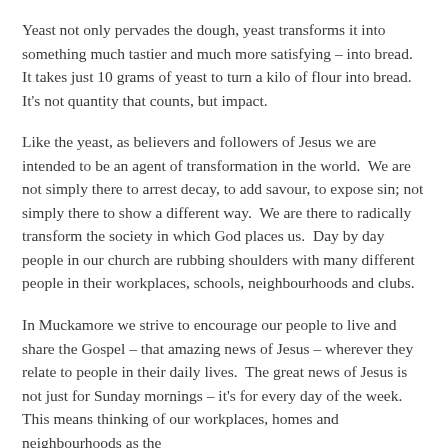Yeast not only pervades the dough, yeast transforms it into something much tastier and much more satisfying – into bread. It takes just 10 grams of yeast to turn a kilo of flour into bread. It's not quantity that counts, but impact.
Like the yeast, as believers and followers of Jesus we are intended to be an agent of transformation in the world. We are not simply there to arrest decay, to add savour, to expose sin; not simply there to show a different way. We are there to radically transform the society in which God places us. Day by day people in our church are rubbing shoulders with many different people in their workplaces, schools, neighbourhoods and clubs.
In Muckamore we strive to encourage our people to live and share the Gospel – that amazing news of Jesus – wherever they relate to people in their daily lives. The great news of Jesus is not just for Sunday mornings – it's for every day of the week. This means thinking of our workplaces, homes and neighbourhoods as the